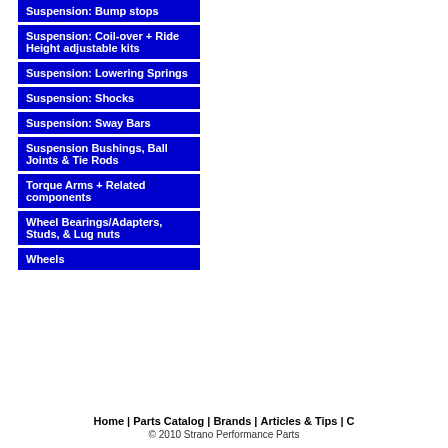Suspension: Bump stops
Suspension: Coil-over + Ride Height adjustable kits
Suspension: Lowering Springs
Suspension: Shocks
Suspension: Sway Bars
Suspension Bushings, Ball Joints & Tie Rods
Torque Arms + Related components
Wheel Bearings/Adapters, Studs, & Lug nuts
Wheels
Home | Parts Catalog | Brands | Articles & Tips | C
© 2010 Strano Performance Parts